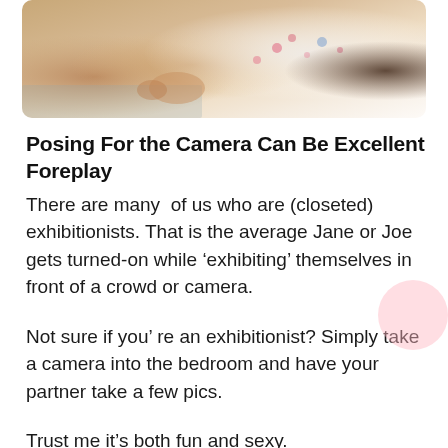[Figure (photo): Person lying on floor wearing floral white outfit, photo cropped at top of page]
Posing For the Camera Can Be Excellent Foreplay
There are many  of us who are (closeted) exhibitionists. That is the average Jane or Joe gets turned-on while ‘exhibiting’ themselves in front of a crowd or camera.
Not sure if you’ re an exhibitionist? Simply take a camera into the bedroom and have your partner take a few pics.
Trust me it’s both fun and sexy.